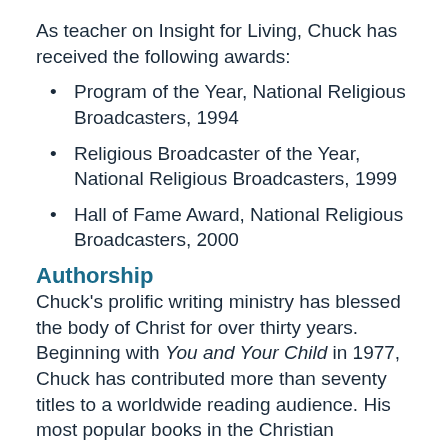As teacher on Insight for Living, Chuck has received the following awards:
Program of the Year, National Religious Broadcasters, 1994
Religious Broadcaster of the Year, National Religious Broadcasters, 1999
Hall of Fame Award, National Religious Broadcasters, 2000
Authorship
Chuck's prolific writing ministry has blessed the body of Christ for over thirty years. Beginning with You and Your Child in 1977, Chuck has contributed more than seventy titles to a worldwide reading audience. His most popular books in the Christian Bookseller's Association include: Strengthening Your Grip, Improving Your Serve, Dropping Your Guard, Living on the Ragged